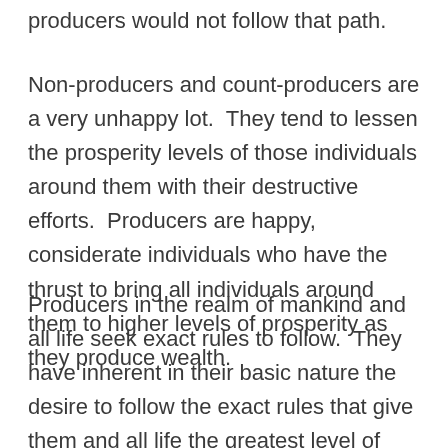producers would not follow that path.
Non-producers and count-producers are a very unhappy lot.  They tend to lessen the prosperity levels of those individuals around them with their destructive efforts.  Producers are happy, considerate individuals who have the thrust to bring all individuals around them to higher levels of prosperity as they produce wealth.
Producers in the realm of mankind and all life seek exact rules to follow.  They have inherent in their basic nature the desire to follow the exact rules that give them and all life the greatest level of prosperity and survival.  Non-producers and counter-producers have the desire to violate rules